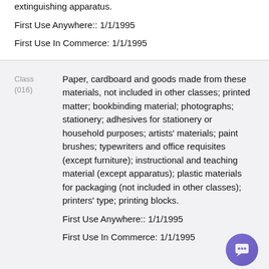extinguishing apparatus.
First Use Anywhere:: 1/1/1995
First Use In Commerce: 1/1/1995
Class (016)
Paper, cardboard and goods made from these materials, not included in other classes; printed matter; bookbinding material; photographs; stationery; adhesives for stationery or household purposes; artists' materials; paint brushes; typewriters and office requisites (except furniture); instructional and teaching material (except apparatus); plastic materials for packaging (not included in other classes); printers' type; printing blocks.
First Use Anywhere:: 1/1/1995
First Use In Commerce: 1/1/1995